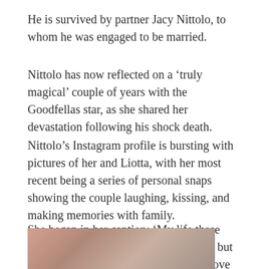He is survived by partner Jacy Nittolo, to whom he was engaged to be married.
Nittolo has now reflected on a ‘truly magical’ couple of years with the Goodfellas star, as she shared her devastation following his shock death.
Nittolo’s Instagram profile is bursting with pictures of her and Liotta, with her most recent being a series of personal snaps showing the couple laughing, kissing, and making memories with family.
She began in her caption: ‘My life these past couple of years have been nothing but truly magical. Ray and I share a deep love that I will cherish in my heart forever.’
[Figure (photo): Partial photo of two people, cropped at the bottom of the page]